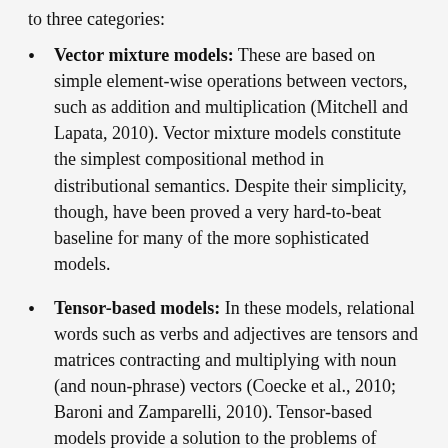to three categories:
Vector mixture models: These are based on simple element-wise operations between vectors, such as addition and multiplication (Mitchell and Lapata, 2010). Vector mixture models constitute the simplest compositional method in distributional semantics. Despite their simplicity, though, have been proved a very hard-to-beat baseline for many of the more sophisticated models.
Tensor-based models: In these models, relational words such as verbs and adjectives are tensors and matrices contracting and multiplying with noun (and noun-phrase) vectors (Coecke et al., 2010; Baroni and Zamparelli, 2010). Tensor-based models provide a solution to the problems of vector mixtures: they are not bag-of-words approaches and they respect the type-logical identities of special words, following an approach very much aligned with the formal